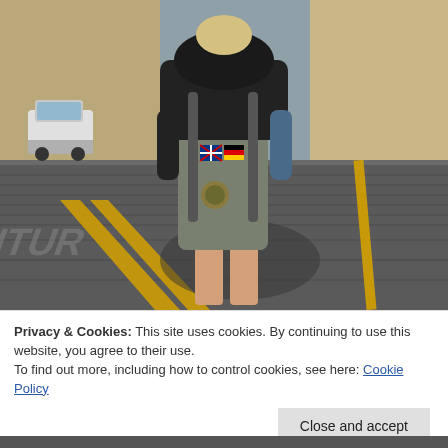[Figure (photo): A person viewed from behind standing on a cobblestone street. They are wearing a large backpack covered in various country patches/badges (including UK flag, German flag, and others), a black hoodie, and shorts. There is a yellow road marking on the ground and a car and building in the background. The scene appears to be in a sunny European city.]
Privacy & Cookies: This site uses cookies. By continuing to use this website, you agree to their use.
To find out more, including how to control cookies, see here: Cookie Policy
Close and accept